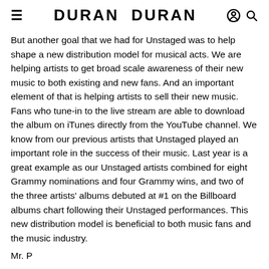DURAN DURAN
But another goal that we had for Unstaged was to help shape a new distribution model for musical acts. We are helping artists to get broad scale awareness of their new music to both existing and new fans. And an important element of that is helping artists to sell their new music. Fans who tune-in to the live stream are able to download the album on iTunes directly from the YouTube channel. We know from our previous artists that Unstaged played an important role in the success of their music. Last year is a great example as our Unstaged artists combined for eight Grammy nominations and four Grammy wins, and two of the three artists' albums debuted at #1 on the Billboard albums chart following their Unstaged performances. This new distribution model is beneficial to both music fans and the music industry.
Mr. P...